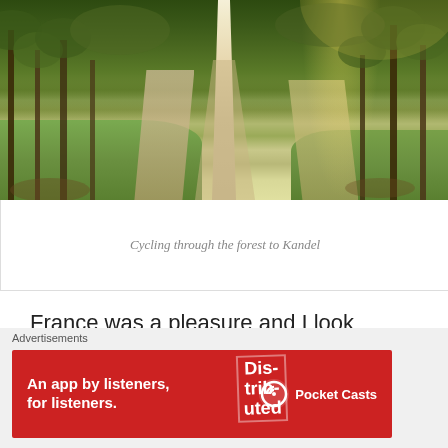[Figure (photo): A forest path or gravel track running through trees with green grass on both sides, dappled sunlight, leading into the distance. Two tyre tracks visible on the path.]
Cycling through the forest to Kandel
France was a pleasure and I look forward to returning in the near future!
Advertisements
[Figure (other): Advertisement banner for Pocket Casts app. Red background with text: An app by listeners, for listeners. Pocket Casts logo on the right. Smartphone image in center with stylized Distributed text overlay.]